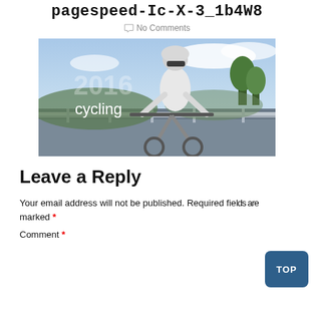pagespeed-Ic-X-3_1b4W8
No Comments
[Figure (photo): A cyclist wearing a white helmet and sunglasses riding a road bike on a highway. The image has '2016 cycling' text overlaid in white on the left side.]
Leave a Reply
Your email address will not be published. Required fields are marked *
Comment *